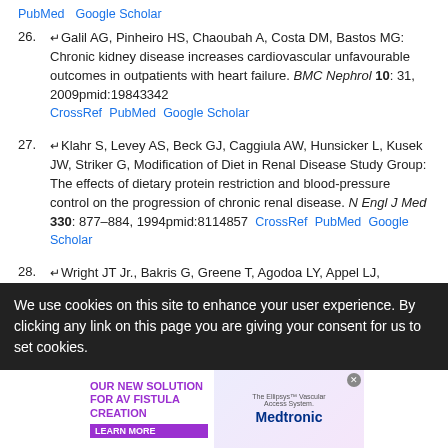PubMed   Google Scholar
26. Galil AG, Pinheiro HS, Chaoubah A, Costa DM, Bastos MG: Chronic kidney disease increases cardiovascular unfavourable outcomes in outpatients with heart failure. BMC Nephrol 10: 31, 2009pmid:19843342 CrossRef PubMed Google Scholar
27. Klahr S, Levey AS, Beck GJ, Caggiula AW, Hunsicker L, Kusek JW, Striker G, Modification of Diet in Renal Disease Study Group: The effects of dietary protein restriction and blood-pressure control on the progression of chronic renal disease. N Engl J Med 330: 877–884, 1994pmid:8114857 CrossRef PubMed Google Scholar
28. Wright JT Jr., Bakris G, Greene T, Agodoa LY, Appel LJ, Charleston J, Cheek D, Douglas-Baltimore JG, Gassman J, Glassock R, Hebert L, Jamerson K, Lewis J, Phillips RA, Toto RD, Middleton JP, Rostand SG, African American Study of Kidney Disease and Hypertension Study
We use cookies on this site to enhance your user experience. By clicking any link on this page you are giving your consent for us to set cookies.
[Figure (infographic): Medtronic advertisement for AV Fistula Creation solution featuring the Ellipsys Vascular Access System with Learn More button]